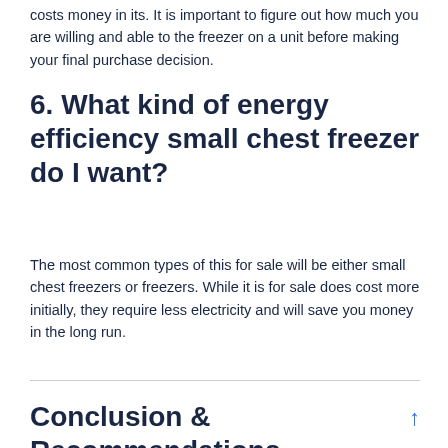costs money in its. It is important to figure out how much you are willing and able to the freezer on a unit before making your final purchase decision.
6. What kind of energy efficiency small chest freezer do I want?
The most common types of this for sale will be either small chest freezers or freezers. While it is for sale does cost more initially, they require less electricity and will save you money in the long run.
Conclusion & Recommendations